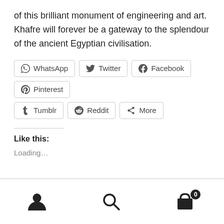of this brilliant monument of engineering and art. Khafre will forever be a gateway to the splendour of the ancient Egyptian civilisation.
[Figure (other): Social sharing buttons: WhatsApp, Twitter, Facebook, Pinterest, Tumblr, Reddit, More]
Like this:
Loading...
Navigation footer with user, search, and cart (0) icons